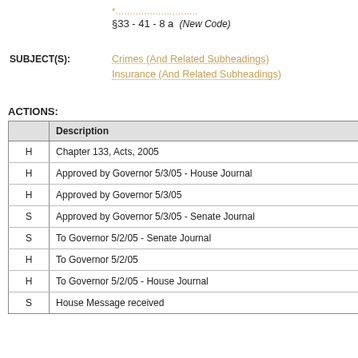§33 - 41 - 8 a (New Code)
SUBJECT(S): Crimes (And Related Subheadings) Insurance (And Related Subheadings)
ACTIONS:
|  | Description |
| --- | --- |
| H | Chapter 133, Acts, 2005 |
| H | Approved by Governor 5/3/05 - House Journal |
| H | Approved by Governor 5/3/05 |
| S | Approved by Governor 5/3/05 - Senate Journal |
| S | To Governor 5/2/05 - Senate Journal |
| H | To Governor 5/2/05 |
| H | To Governor 5/2/05 - House Journal |
| S | House Message received |